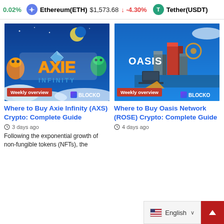0.02%  Ethereum(ETH) $1,573.68 ↓ -4.30%  Tether(USDT)
[Figure (screenshot): Axie Infinity game art with blue sky, cartoon creatures, gold AXIE INFINITY logo and 'BLOCKO' watermark. Red 'Weekly overview' badge at bottom left.]
[Figure (screenshot): Oasis Network isometric city illustration on blue background with 'OASIS' text and 'BLOCKO' watermark. Red 'Weekly overview' badge at bottom left.]
Where to Buy Axie Infinity (AXS) Crypto: Complete Guide
3 days ago
Following the exponential growth of non-fungible tokens (NFTs), the
Where to Buy Oasis Network (ROSE) Crypto: Complete Guide
4 days ago
English